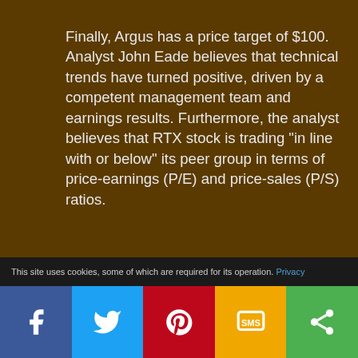Finally, Argus has a price target of $100. Analyst John Eade believes that technical trends have turned positive, driven by a competent management team and earnings results. Furthermore, the analyst believes that RTX stock is trading "in line with or below" its peer group in terms of price-earnings (P/E) and price-sales (P/S) ratios.
This site uses cookies, some of which are required for its operation. Privacy